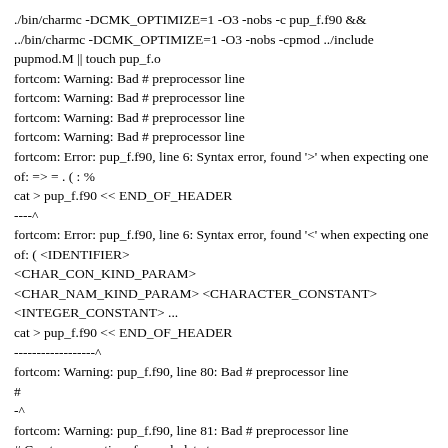./bin/charmc -DCMK_OPTIMIZE=1 -O3 -nobs -c pup_f.f90 &&
../bin/charmc -DCMK_OPTIMIZE=1 -O3 -nobs -cpmod ../include pupmod.M || touch pup_f.o
fortcom: Warning: Bad # preprocessor line
fortcom: Warning: Bad # preprocessor line
fortcom: Warning: Bad # preprocessor line
fortcom: Warning: Bad # preprocessor line
fortcom: Error: pup_f.f90, line 6: Syntax error, found '>' when expecting one of: => = . ( : %
cat > pup_f.f90 << END_OF_HEADER
----^
fortcom: Error: pup_f.f90, line 6: Syntax error, found '<' when expecting one of: ( <IDENTIFIER>
<CHAR_CON_KIND_PARAM>
<CHAR_NAM_KIND_PARAM> <CHARACTER_CONSTANT>
<INTEGER_CONSTANT> ...
cat > pup_f.f90 << END_OF_HEADER
------------------^
fortcom: Warning: pup_f.f90, line 80: Bad # preprocessor line
#
-^
fortcom: Warning: pup_f.f90, line 81: Bad # preprocessor line
# Create pup routines for each data type: